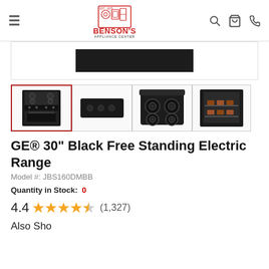Benson's Appliance Center
[Figure (photo): Main product image area showing black range top portion]
[Figure (photo): Thumbnail 1: Full black electric range front view (selected)]
[Figure (photo): Thumbnail 2: Black range control panel/backsplash]
[Figure (photo): Thumbnail 3: Overhead view of black electric cooktop with 4 burners]
[Figure (photo): Thumbnail 4: Oven interior with baked goods]
GE® 30" Black Free Standing Electric Range
Model #: JBS160DMBB
Quantity in Stock: 0
4.4 (1,327)
Also Sho…